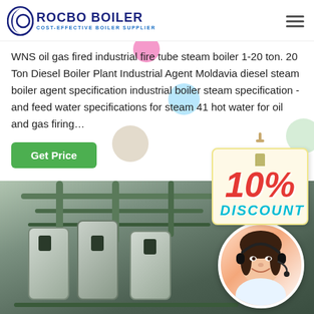ROCBO BOILER - COST-EFFECTIVE BOILER SUPPLIER
WNS oil gas fired industrial fire tube steam boiler 1-20 ton. 20 Ton Diesel Boiler Plant Industrial Agent Moldavia diesel steam boiler agent specification industrial boiler steam specification - and feed water specifications for steam 41 hot water for oil and gas firing…
[Figure (infographic): 10% DISCOUNT promotional badge with decorative string/hanger, shown in red and cyan text on a cream-colored background with border]
[Figure (photo): Industrial boiler room with green pipes, metal tanks, and pump equipment. Overlaid circular photo of a female customer service representative wearing a headset, smiling.]